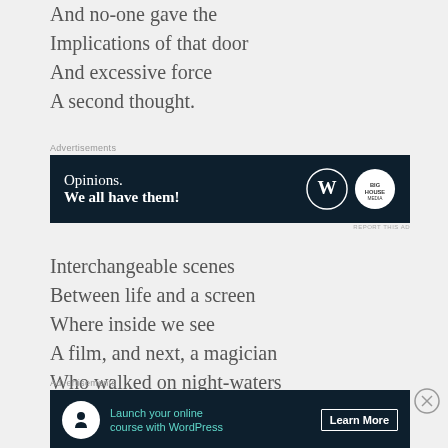And no-one gave the
Implications of that door
And excessive force
A second thought.
[Figure (infographic): Advertisement banner: dark navy background with text 'Opinions. We all have them!' and WordPress and BHQ logos]
Interchangeable scenes
Between life and a screen
Where inside we see
A film, and next, a magician
Who walked on night-waters
Where I have floundered,
[Figure (infographic): Advertisement banner: dark navy background with tree icon circle, teal text 'Launch your online course with WordPress' and a 'Learn More' button]